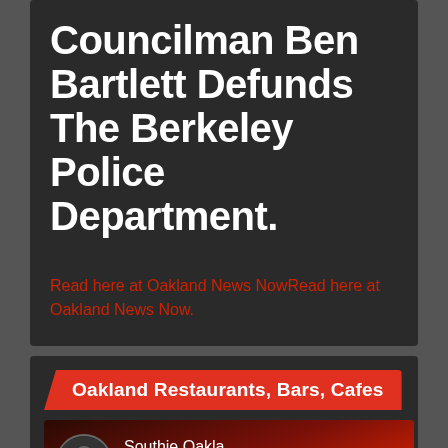Councilman Ben Bartlett Defunds The Berkeley Police Department.
Read here at Oakland News NowRead here at Oakland News Now.
Oakland Restaurants, Bars, Cafes
[Figure (screenshot): Video thumbnail showing a news anchor or speaker in front of a red background, with avatar icon, title 'Southie Oakla...' and playlist/menu icons, and a play button in the center.]